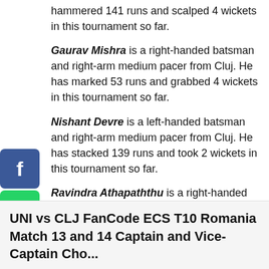hammered 141 runs and scalped 4 wickets in this tournament so far.
Gaurav Mishra is a right-handed batsman and right-arm medium pacer from Cluj. He has marked 53 runs and grabbed 4 wickets in this tournament so far.
Nishant Devre is a left-handed batsman and right-arm medium pacer from Cluj. He has stacked 139 runs and took 2 wickets in this tournament so far.
Ravindra Athapaththu is a right-handed batsman and right-arm medium pacer from Cluj. He has scored 34 runs and picked up 7 wickets in this tournament so far.
[Figure (infographic): Social sharing buttons: Facebook (blue), WhatsApp (green), Pinterest (red), Share (blue) stacked vertically on the left side. A red CLOSE button in the middle of the page.]
UNI vs CLJ FanCode ECS T10 Romania Match 13 and 14 Captain and Vice-Captain Cho...